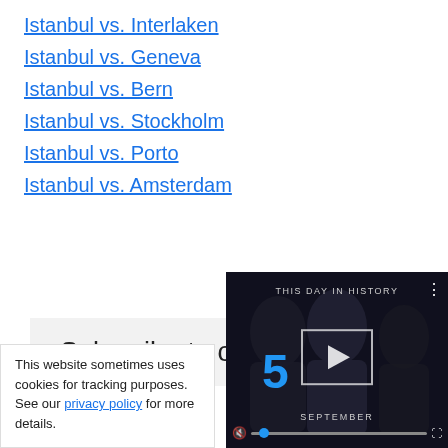Istanbul vs. Interlaken
Istanbul vs. Geneva
Istanbul vs. Bern
Istanbul vs. Stockholm
Istanbul vs. Porto
Istanbul vs. Amsterdam
Subscribe to o…
This website sometimes uses cookies for tracking purposes. See our privacy policy for more details.
[Figure (screenshot): Video thumbnail showing 'THIS DAY IN HISTORY' with number 5 and SEPTEMBER label, with play button, mute icon, progress bar, and fullscreen controls]